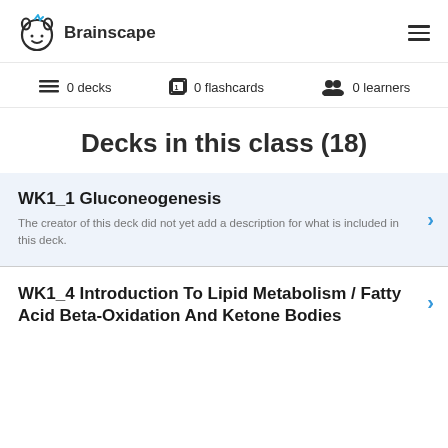Brainscape
0 decks  0 flashcards  0 learners
Decks in this class (18)
WK1_1 Gluconeogenesis
The creator of this deck did not yet add a description for what is included in this deck.
WK1_4 Introduction To Lipid Metabolism / Fatty Acid Beta-Oxidation And Ketone Bodies